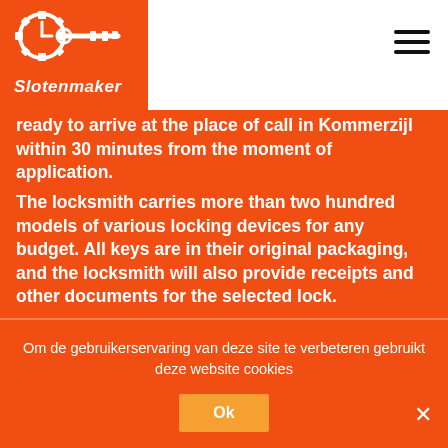Slotenmaker
ready to arrive at the place of call in Kommerzijl within 30 minutes from the moment of application. The locksmith carries more than two hundred models of various locking devices for any budget. All keys are in their original packaging, and the locksmith will also provide receipts and other documents for the selected lock. Need to open your car door without k...
Om de gebruikerservaring van deze site te verbeteren gebruikt deze website cookies
Ok